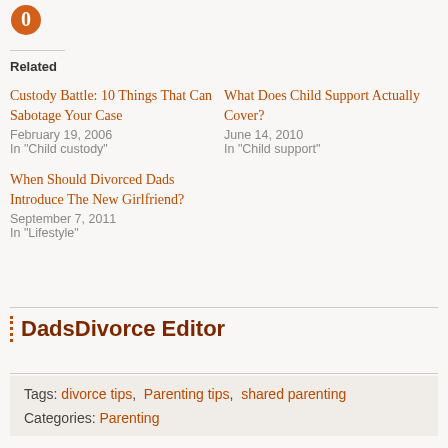[Figure (logo): Orange circular logo icon]
Related
Custody Battle: 10 Things That Can Sabotage Your Case
February 19, 2006
In "Child custody"
What Does Child Support Actually Cover?
June 14, 2010
In "Child support"
When Should Divorced Dads Introduce The New Girlfriend?
September 7, 2011
In "Lifestyle"
DadsDivorce Editor
Tags: divorce tips,  Parenting tips,  shared parenting
Categories: Parenting